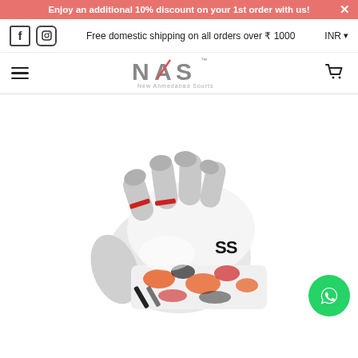Enjoy an additional 10% discount on your 1st order with us! ×
Free domestic shipping on all orders over ₹ 1000 | INR ▾
NAS — New Ahmedabad Sports (logo, hamburger menu, cart icon)
[Figure (photo): SS cricket batting gloves — white leather with red and orange camouflage patterned cuff, grey suede palm, silver finger protectors. SS brand logo visible on back.]